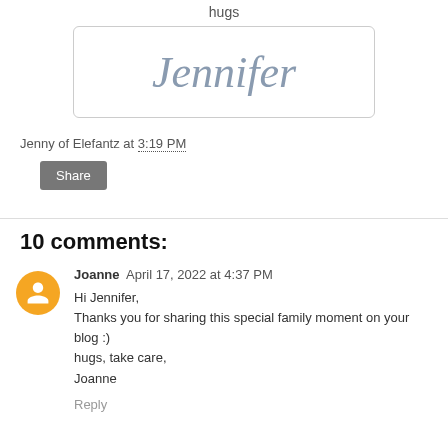hugs
[Figure (illustration): Cursive signature reading 'Jennifer' in gray-blue script inside a rounded rectangle border]
Jenny of Elefantz at 3:19 PM
Share
10 comments:
Joanne  April 17, 2022 at 4:37 PM
Hi Jennifer,
Thanks you for sharing this special family moment on your blog :)
hugs, take care,
Joanne
Reply